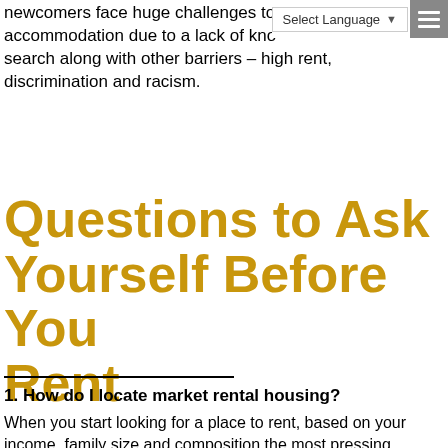newcomers face huge challenges to find suitable accommodation due to a lack of knowledge on how to search along with other barriers – high rent, discrimination and racism.
Questions to Ask Yourself Before You Rent
1. How do I locate market rental housing?
When you start looking for a place to rent, based on your income, family size and composition the most pressing questions you may have: